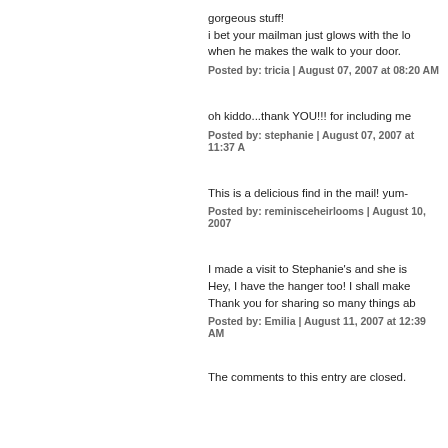gorgeous stuff!
i bet your mailman just glows with the lo when he makes the walk to your door.
Posted by: tricia | August 07, 2007 at 08:20 AM
oh kiddo...thank YOU!!! for including me
Posted by: stephanie | August 07, 2007 at 11:37 A
This is a delicious find in the mail! yum-
Posted by: reminisceheirlooms | August 10, 2007
I made a visit to Stephanie's and she is
Hey, I have the hanger too! I shall make
Thank you for sharing so many things ab
Posted by: Emilia | August 11, 2007 at 12:39 AM
The comments to this entry are closed.